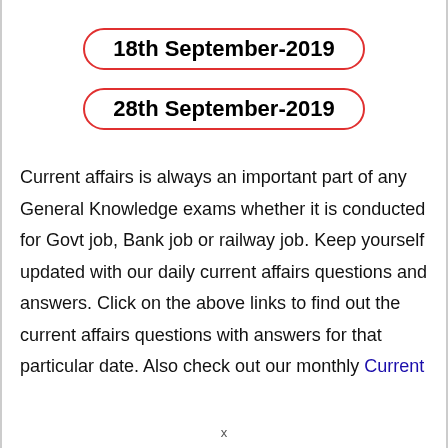18th September-2019
28th September-2019
Current affairs is always an important part of any General Knowledge exams whether it is conducted for Govt job, Bank job or railway job. Keep yourself updated with our daily current affairs questions and answers. Click on the above links to find out the current affairs questions with answers for that particular date. Also check out our monthly Current
x